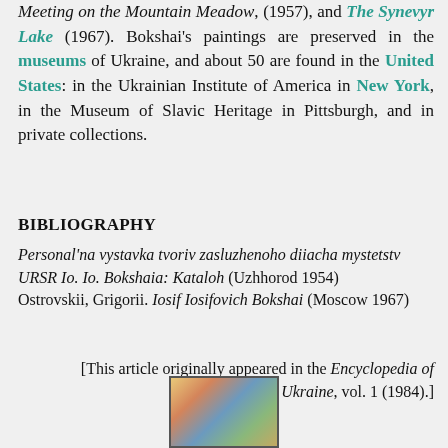Meeting on the Mountain Meadow, (1957), and The Synevyr Lake (1967). Bokshai's paintings are preserved in the museums of Ukraine, and about 50 are found in the United States: in the Ukrainian Institute of America in New York, in the Museum of Slavic Heritage in Pittsburgh, and in private collections.
BIBLIOGRAPHY
Personal'na vystavka tvoriv zasluzhenoho diiacha mystetstv URSR Io. Io. Bokshaia: Kataloh (Uzhhorod 1954)
Ostrovskii, Grigorii. Iosif Iosifovich Bokshai (Moscow 1967)
[This article originally appeared in the Encyclopedia of Ukraine, vol. 1 (1984).]
[Figure (photo): Small thumbnail photograph, appears to show a colorful painting or scene with buildings and water, partially visible at bottom of page.]